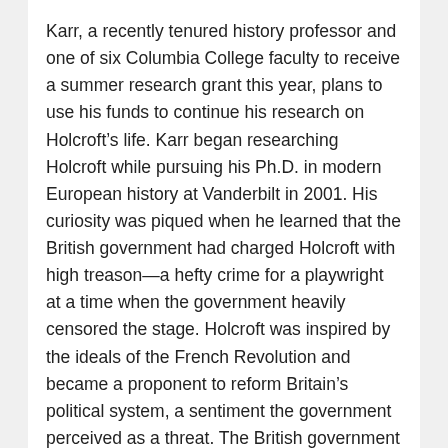Karr, a recently tenured history professor and one of six Columbia College faculty to receive a summer research grant this year, plans to use his funds to continue his research on Holcroft's life. Karr began researching Holcroft while pursuing his Ph.D. in modern European history at Vanderbilt in 2001. His curiosity was piqued when he learned that the British government had charged Holcroft with high treason—a hefty crime for a playwright at a time when the government heavily censored the stage. Holcroft was inspired by the ideals of the French Revolution and became a proponent to reform Britain's political system, a sentiment the government perceived as a threat. The British government later dropped the charges against Holcroft, but his place in history as a rebel rouser was cast.
“He was very publically visible. He was producing some very popular plays as well as some novels. The concern